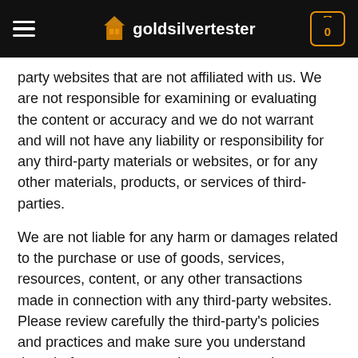goldsilvertester
party websites that are not affiliated with us. We are not responsible for examining or evaluating the content or accuracy and we do not warrant and will not have any liability or responsibility for any third-party materials or websites, or for any other materials, products, or services of third-parties.
We are not liable for any harm or damages related to the purchase or use of goods, services, resources, content, or any other transactions made in connection with any third-party websites. Please review carefully the third-party's policies and practices and make sure you understand them before you engage in any transaction. Complaints, claims, concerns, or questions regarding third-party products should be directed to the third-party.